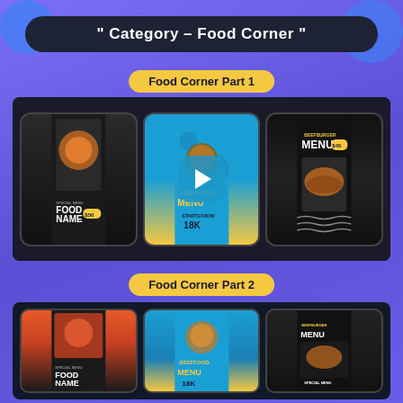" Category – Food Corner "
Food Corner Part 1
[Figure (screenshot): Video thumbnail showing three smartphone mockups with food Instagram story templates. Left phone shows dark theme 'FOOD NAME' food menu template with $50 price. Center phone shows blue 'BEEFFOOD MENU' template starting from 18K with play button overlay. Right phone shows dark 'BEEFBURGER MENU' template with $45 price.]
Food Corner Part 2
[Figure (screenshot): Second video thumbnail showing three smartphone mockups with food Instagram story templates similar to Part 1, partially visible at the bottom of the page.]